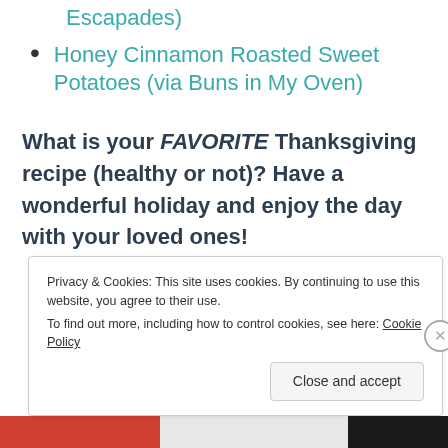Escapades)
Honey Cinnamon Roasted Sweet Potatoes (via Buns in My Oven)
What is your FAVORITE Thanksgiving recipe (healthy or not)? Have a wonderful holiday and enjoy the day with your loved ones!
Privacy & Cookies: This site uses cookies. By continuing to use this website, you agree to their use. To find out more, including how to control cookies, see here: Cookie Policy
Close and accept